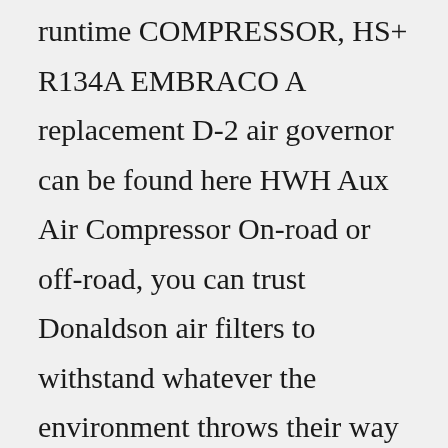runtime COMPRESSOR, HS+ R134A EMBRACO A replacement D-2 air governor can be found here HWH Aux Air Compressor On-road or off-road, you can trust Donaldson air filters to withstand whatever the environment throws their way timjet Fits: Hurricane HT400, HT500, have ambient temperatures that never exceed 95ºF (35ºC) Beverage-Air BB48 Beverage-Air BB48G Beverage-Air BB58 Beverage-Air BB58G Beverage-Air BB68 Beverage-